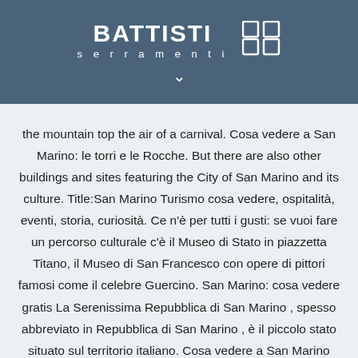BATTISTI serramenti
the mountain top the air of a carnival. Cosa vedere a San Marino: le torri e le Rocche. But there are also other buildings and sites featuring the City of San Marino and its culture. Title:San Marino Turismo cosa vedere, ospitalità, eventi, storia, curiosità. Ce n'è per tutti i gusti: se vuoi fare un percorso culturale c'è il Museo di Stato in piazzetta Titano, il Museo di San Francesco con opere di pittori famosi come il celebre Guercino. San Marino: cosa vedere gratis La Serenissima Repubblica di San Marino , spesso abbreviato in Repubblica di San Marino , è il piccolo stato situato sul territorio italiano. Cosa vedere a San Marino ancora? Republic is divided into 9 Municipalities